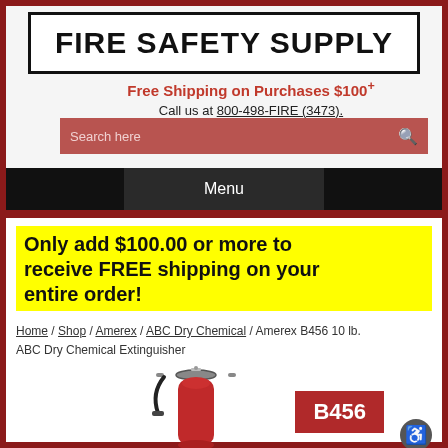FIRE SAFETY SUPPLY
Free Shipping on Purchases $100+
Call us at 800-498-FIRE (3473).
Search here
Menu
Only add $100.00 or more to receive FREE shipping on your entire order!
Home / Shop / Amerex / ABC Dry Chemical / Amerex B456 10 lb. ABC Dry Chemical Extinguisher
[Figure (photo): Amerex B456 10 lb. ABC Dry Chemical fire extinguisher product photo with red badge labeled B456]
B456